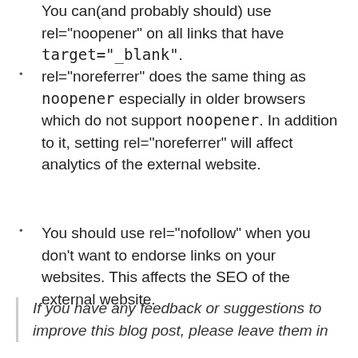You can(and probably should) use rel="noopener" on all links that have target="_blank".
rel="noreferrer" does the same thing as noopener especially in older browsers which do not support noopener. In addition to it, setting rel="noreferrer" will affect analytics of the external website.
You should use rel="nofollow" when you don't want to endorse links on your websites. This affects the SEO of the external website.
If you have any feedback or suggestions to improve this blog post, please leave them in